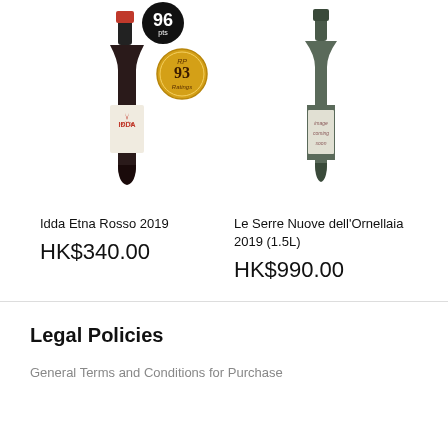[Figure (photo): Wine bottle for Idda Etna Rosso 2019 with rating badge 96 pts (black circle) and 93 Ratings (gold circle)]
[Figure (photo): Wine bottle placeholder with 'image coming soon' label for Le Serre Nuove dell'Ornellaia 2019 (1.5L)]
Idda Etna Rosso 2019
HK$340.00
Le Serre Nuove dell'Ornellaia 2019 (1.5L)
HK$990.00
Legal Policies
General Terms and Conditions for Purchase